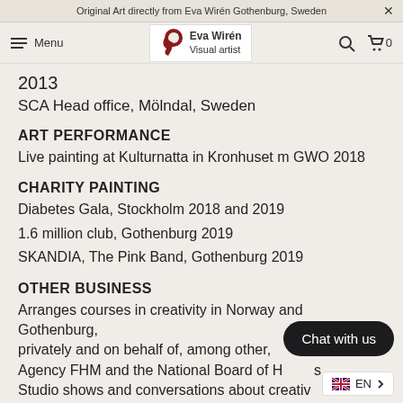Original Art directly from Eva Wirén Gothenburg, Sweden
Menu | Eva Wirén Visual artist
2013
SCA Head office, Mölndal, Sweden
ART PERFORMANCE
Live painting at Kulturnatta in Kronhuset m GWO 2018
CHARITY PAINTING
Diabetes Gala, Stockholm 2018 and 2019
1.6 million club, Gothenburg 2019
SKANDIA, The Pink Band, Gothenburg 2019
OTHER BUSINESS
Arranges courses in creativity in Norway and Gothenburg, privately and on behalf of, among other, Agency FHM and the National Board of Health, Studio shows and conversations about creativity